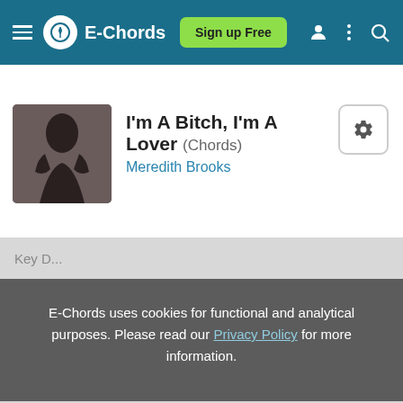E-Chords | Sign up Free
I'm A Bitch, I'm A Lover (Chords)
Meredith Brooks
E-Chords uses cookies for functional and analytical purposes. Please read our Privacy Policy for more information.